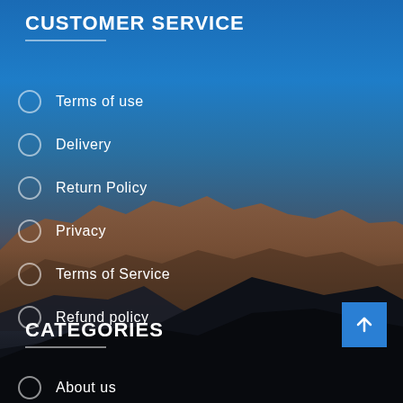CUSTOMER SERVICE
Terms of use
Delivery
Return Policy
Privacy
Terms of Service
Refund policy
[Figure (photo): Outdoor landscape photo of reddish-brown rocky mountains against a clear blue sky, with dark silhouetted foreground terrain at dusk]
CATEGORIES
About us